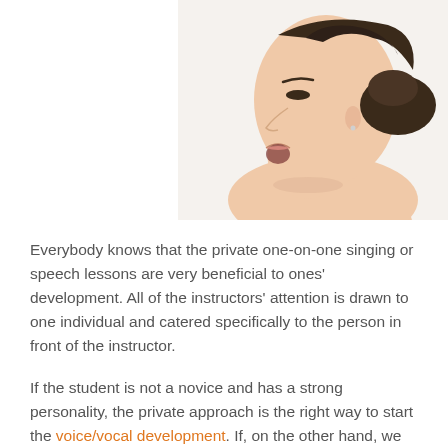[Figure (photo): Side profile of a woman with her mouth open as if singing or speaking, hair pulled back, white background, visible ear with small earring.]
Everybody knows that the private one-on-one singing or speech lessons are very beneficial to ones' development. All of the instructors' attention is drawn to one individual and catered specifically to the person in front of the instructor.
If the student is not a novice and has a strong personality, the private approach is the right way to start the voice/vocal development. If, on the other hand, we are talking about a complete beginner who has never taken any speech or singing